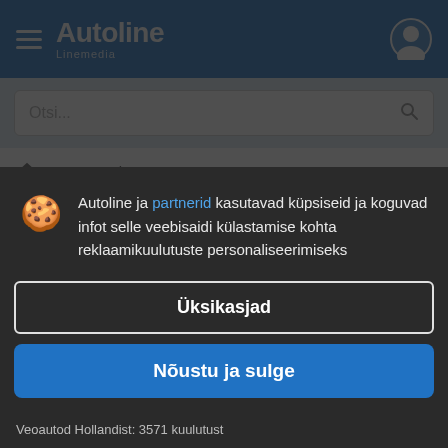[Figure (logo): Autoline Linemedia logo with hamburger menu and user icon on blue header]
Otsi...
🏠 > Veoautod
Veoautod Hollandist
Autoline ja partnerid kasutavad küpsiseid ja koguvad infot selle veebisaidi külastamise kohta reklaamikuulutuste personaliseerimiseks
Üksikasjad
Nõustu ja sulge
Veoautod Hollandist: 3571 kuulutust